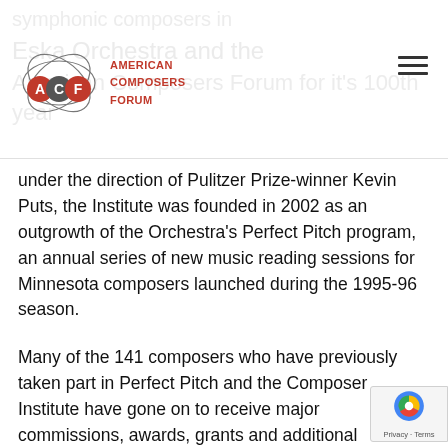American Composers Forum
under the direction of Pulitzer Prize-winner Kevin Puts, the Institute was founded in 2002 as an outgrowth of the Orchestra's Perfect Pitch program, an annual series of new music reading sessions for Minnesota composers launched during the 1995-96 season.
Many of the 141 composers who have previously taken part in Perfect Pitch and the Composer Institute have gone on to receive major commissions, awards, grants and additional performances of their works. Most recently, 2017 Composer Institute participant Nina C. Young w[as] commissioned by the New York Philharmonic to inaugurate its Project 19 of new music by female[...]